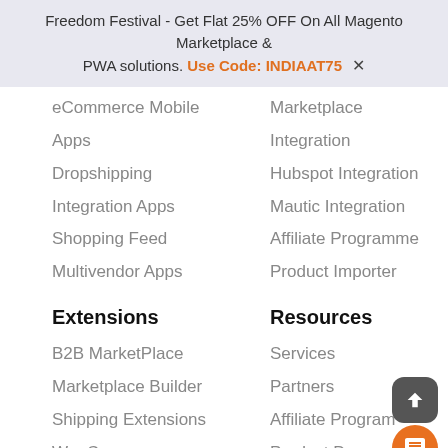Freedom Festival - Get Flat 25% OFF On All Magento Marketplace & PWA solutions. Use Code: INDIAAT75 ✕
eCommerce Mobile
Marketplace
Apps
Integration
Dropshipping
Hubspot Integration
Integration Apps
Mautic Integration
Shopping Feed
Affiliate Programme
Multivendor Apps
Product Importer
Extensions
Resources
B2B MarketPlace
Services
Marketplace Builder
Partners
Shipping Extensions
Affiliate Program
WooCommerce
Product Documents